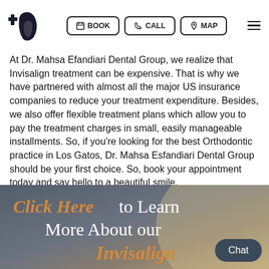BOOK | CALL | MAP
At Dr. Mahsa Efandiari Dental Group, we realize that Invisalign treatment can be expensive. That is why we have partnered with almost all the major US insurance companies to reduce your treatment expenditure. Besides, we also offer flexible treatment plans which allow you to pay the treatment charges in small, easily manageable installments. So, if you're looking for the best Orthodontic practice in Los Gatos, Dr. Mahsa Esfandiari Dental Group should be your first choice. So, book your appointment today and say hello to a beautiful smile.
[Figure (illustration): Dark banner with gradient background showing 'Click Here to Learn More About our Invisalign' text with orange and white serif typography, with a decorative tan oval shape on the right side and a 'Chat' button overlay.]